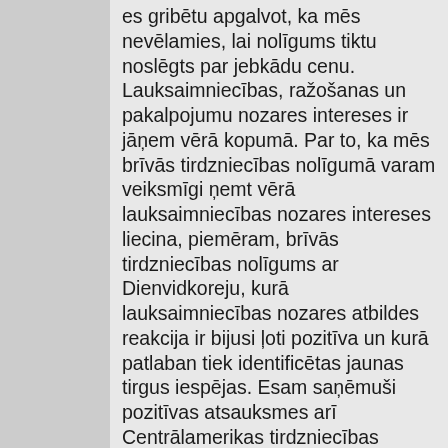es gribētu apgalvot, ka mēs nevēlamies, lai nolīgums tiktu noslēgts par jebkādu cenu. Lauksaimniecības, ražošanas un pakalpojumu nozares intereses ir jāņem vērā kopumā. Par to, ka mēs brīvās tirdzniecības nolīgumā varam veiksmīgi ņemt vērā lauksaimniecības nozares intereses liecina, piemēram, brīvās tirdzniecības nolīgums ar Dienvidkoreju, kurā lauksaimniecības nozares atbildes reakcija ir bijusi ļoti pozitīva un kurā patlaban tiek identificētas jaunas tirgus iespējas. Esam saņēmuši pozitīvas atsauksmes arī Centrālamerikas tirdzniecības nolīguma sakarā; tur tiek atvērti jauni tirgi, piemēram, piena nozarē. Es būtu pateicīgs, ja turpmākajās nedēļās Komisija vairāk censtos ņemt vērā visas intereses, proti, gan ražošanas un pakalpojumu nozares, gan arī